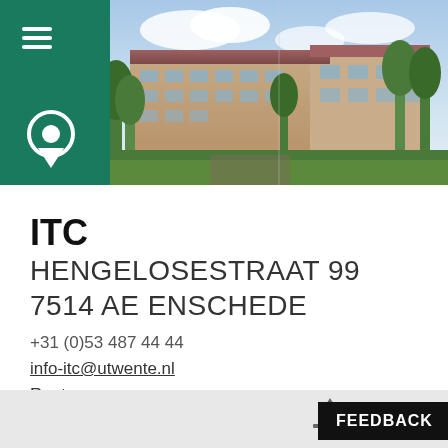[Figure (photo): Exterior photograph of ITC building (Hengelosestraat 99, Enschede) with trees and sky, shown beside a green sidebar with hamburger menu and location pin icon]
ITC
HENGELOSESTRAAT 99
7514 AE ENSCHEDE
+31 (0)53 487 44 44
info-itc@utwente.nl
Route
FEEDBACK